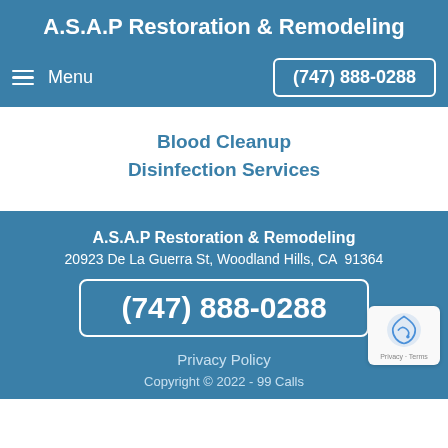A.S.A.P Restoration & Remodeling
Menu
(747) 888-0288
Blood Cleanup
Disinfection Services
A.S.A.P Restoration & Remodeling
20923 De La Guerra St, Woodland Hills, CA  91364
(747) 888-0288
Privacy Policy
Copyright © 2022 - 99 Calls